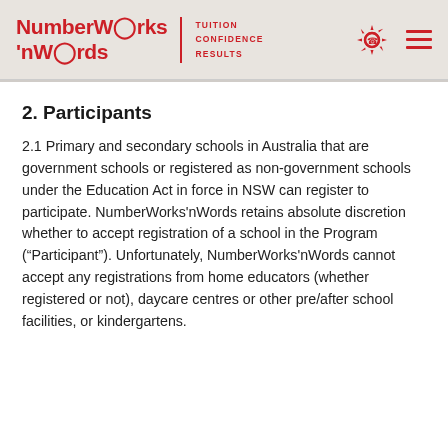NumberWorks'nWords | TUITION CONFIDENCE RESULTS
2. Participants
2.1 Primary and secondary schools in Australia that are government schools or registered as non-government schools under the Education Act in force in NSW can register to participate. NumberWorks'nWords retains absolute discretion whether to accept registration of a school in the Program (“Participant”). Unfortunately, NumberWorks'nWords cannot accept any registrations from home educators (whether registered or not), daycare centres or other pre/after school facilities, or kindergartens.